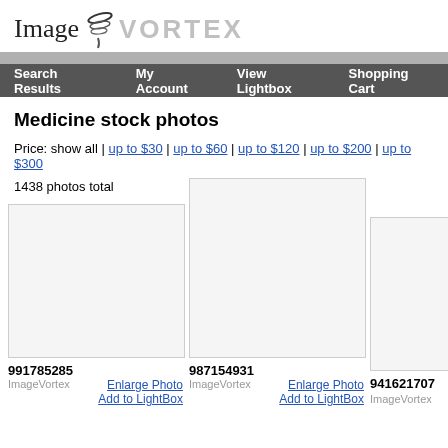[Figure (logo): ImageVortex logo with stylized swirl graphic, 'Image' in serif font and 'VORTEX' in gray bold sans-serif letters]
Search Results | My Account | View Lightbox | Shopping Cart
Medicine stock photos
Price: show all | up to $30 | up to $60 | up to $120 | up to $200 | up to $300
1438 photos total
[Figure (photo): Stock photo thumbnail, ID 991785285, source ImageVortex]
[Figure (photo): Stock photo thumbnail, ID 987154931, source ImageVortex]
[Figure (photo): Stock photo thumbnail, ID 941621707, source ImageVortex (partially visible)]